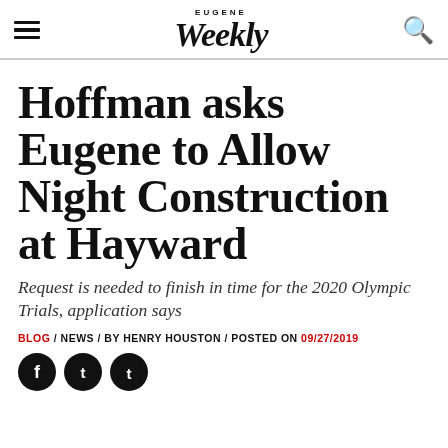EUGENE Weekly
Hoffman asks Eugene to Allow Night Construction at Hayward
Request is needed to finish in time for the 2020 Olympic Trials, application says
BLOG / NEWS / BY HENRY HOUSTON / POSTED ON 09/27/2019
[Figure (other): Social media share icons: Facebook, Twitter, Tumblr]